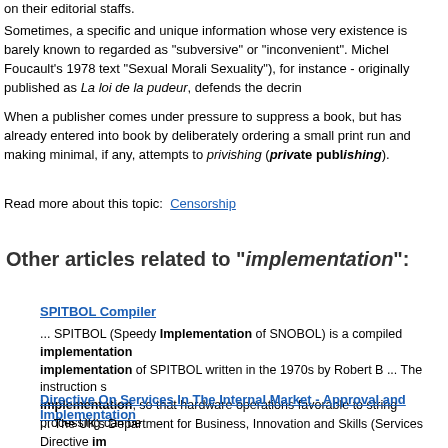on their editorial staffs.
Sometimes, a specific and unique information whose very existence is barely known to regarded as "subversive" or "inconvenient". Michel Foucault's 1978 text "Sexual Morali Sexuality"), for instance - originally published as La loi de la pudeur, defends the decrin
When a publisher comes under pressure to suppress a book, but has already entered into book by deliberately ordering a small print run and making minimal, if any, attempts to privishing (private publishing).
Read more about this topic:  Censorship
Other articles related to "implementation":
SPITBOL Compiler
... SPITBOL (Speedy Implementation of SNOBOL) is a compiled implementation implementation of SPITBOL written in the 1970s by Robert B ... The instruction s implementation, so that hardware operations favorable to string processing can be
Directive On Services In The Internal Market - Approval and Implementation
... The UK's Department for Business, Innovation and Skills (Services Directive im